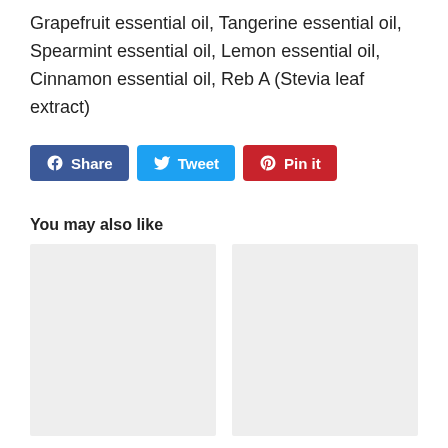Grapefruit essential oil, Tangerine essential oil, Spearmint essential oil, Lemon essential oil, Cinnamon essential oil, Reb A (Stevia leaf extract)
[Figure (other): Social share buttons: Facebook Share, Twitter Tweet, Pinterest Pin it]
You may also like
[Figure (photo): Two gray placeholder image boxes side by side]